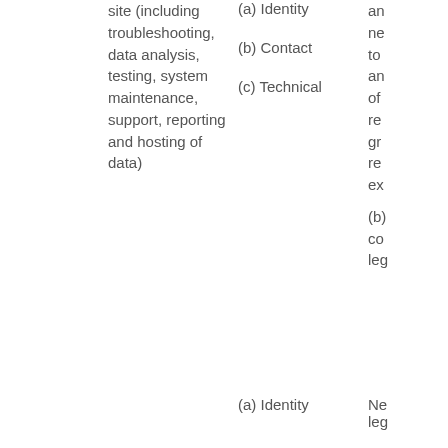site (including troubleshooting, data analysis, testing, system maintenance, support, reporting and hosting of data)
(a) Identity
(b) Contact
(c) Technical
an ne to an of re gr re ex
(b) co leg
(a) Identity
Ne leg